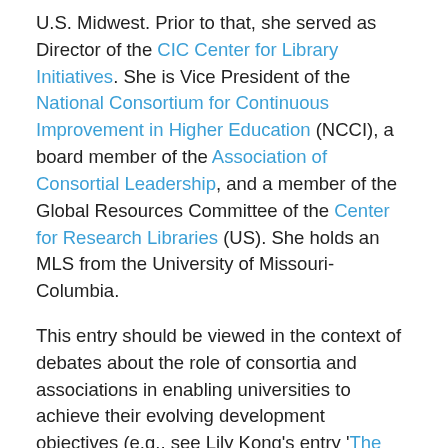U.S. Midwest. Prior to that, she served as Director of the CIC Center for Library Initiatives. She is Vice President of the National Consortium for Continuous Improvement in Higher Education (NCCI), a board member of the Association of Consortial Leadership, and a member of the Global Resources Committee of the Center for Research Libraries (US). She holds an MLS from the University of Missouri-Columbia.
This entry should be viewed in the context of debates about the role of consortia and associations in enabling universities to achieve their evolving development objectives (e.g., see Lily Kong's entry 'The rise, rhetoric, and reality of international university consortia').  Given the nature of GlobalHigherEd, we are also interested in highlighting how many associations and consortia are involved in the process of forging global relations on